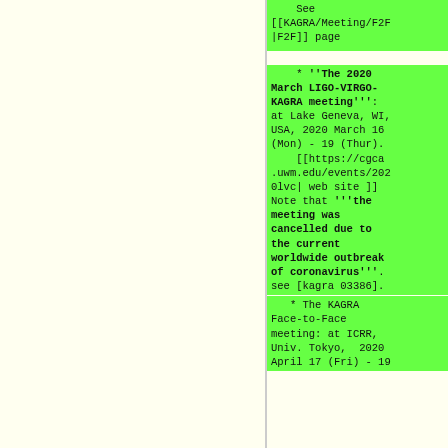See [[KAGRA/Meeting/F2F|F2F]] page
* '''The 2020 March LIGO-VIRGO-KAGRA meeting''': at Lake Geneva, WI, USA, 2020 March 16 (Mon) - 19 (Thur). [[https://cgca.uwm.edu/events/2020lvc| web site ]] Note that '''the meeting was cancelled due to the current worldwide outbreak of coronavirus'''. see [kagra 03386].
* The KAGRA Face-to-Face meeting: at ICRR, Univ. Tokyo, 2020 April 17 (Fri) - 19